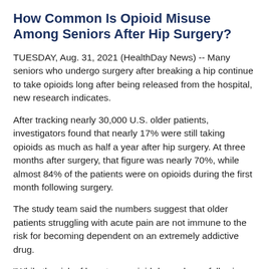How Common Is Opioid Misuse Among Seniors After Hip Surgery?
TUESDAY, Aug. 31, 2021 (HealthDay News) -- Many seniors who undergo surgery after breaking a hip continue to take opioids long after being released from the hospital, new research indicates.
After tracking nearly 30,000 U.S. older patients, investigators found that nearly 17% were still taking opioids as much as half a year after hip surgery. At three months after surgery, that figure was nearly 70%, while almost 84% of the patients were on opioids during the first month following surgery.
The study team said the numbers suggest that older patients struggling with acute pain are not immune to the risk for becoming dependent on an extremely addictive drug.
"While the risk of long-term opioid dependence following musculoskeletal injury and surgery has been established in younger patient populations, our study found that this risk was present in elderly patients following hip fracture.